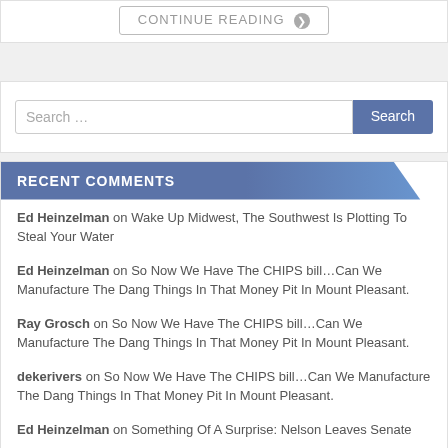CONTINUE READING ❯
RECENT COMMENTS
Ed Heinzelman on Wake Up Midwest, The Southwest Is Plotting To Steal Your Water
Ed Heinzelman on So Now We Have The CHIPS bill…Can We Manufacture The Dang Things In That Money Pit In Mount Pleasant.
Ray Grosch on So Now We Have The CHIPS bill…Can We Manufacture The Dang Things In That Money Pit In Mount Pleasant.
dekerivers on So Now We Have The CHIPS bill…Can We Manufacture The Dang Things In That Money Pit In Mount Pleasant.
Ed Heinzelman on Something Of A Surprise: Nelson Leaves Senate